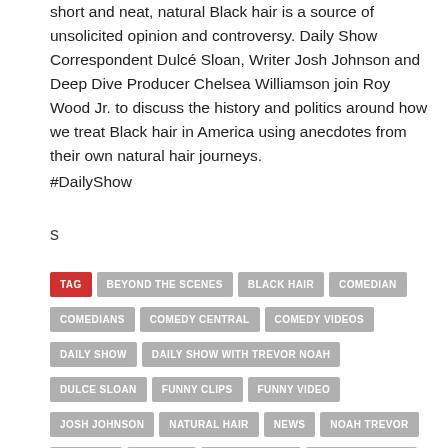short and neat, natural Black hair is a source of unsolicited opinion and controversy. Daily Show Correspondent Dulcé Sloan, Writer Josh Johnson and Deep Dive Producer Chelsea Williamson join Roy Wood Jr. to discuss the history and politics around how we treat Black hair in America using anecdotes from their own natural hair journeys.
#DailyShow
s
TAG | BEYOND THE SCENES | BLACK HAIR | COMEDIAN | COMEDIANS | COMEDY CENTRAL | COMEDY VIDEOS | DAILY SHOW | DAILY SHOW WITH TREVOR NOAH | DULCE SLOAN | FUNNY CLIPS | FUNNY VIDEO | JOSH JOHNSON | NATURAL HAIR | NEWS | NOAH TREVOR | PODCAST | POLITICS | ROY WOOD JR. | THE DAILY SHOW | THE DAILY SHOW EPISODES | TREVOR | TREVOR NOAH | TREVOR NOAH LATEST EPISODE